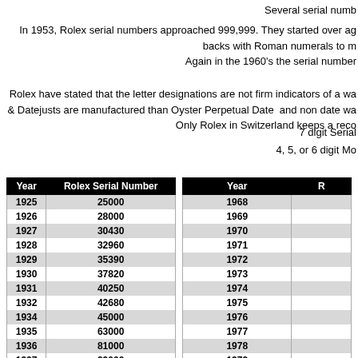Several serial numb
In 1953, Rolex serial numbers approached 999,999. They started over ag backs with Roman numerals to m Again in the 1960's the serial number
Rolex have stated that the letter designations are not firm indicators of a wa & Datejusts are manufactured than Oyster Perpetual Date  and non date wa Only Rolex in Switzerland keeps a reco
7 digit Serial
4, 5, or 6 digit Mo
| Year | Rolex Serial Number |
| --- | --- |
| 1925 | 25000 |
| 1926 | 28000 |
| 1927 | 30430 |
| 1928 | 32960 |
| 1929 | 35390 |
| 1930 | 37820 |
| 1931 | 40250 |
| 1932 | 42680 |
| 1934 | 45000 |
| 1935 | 63000 |
| 1936 | 81000 |
| 1937 | 99000 |
| 1938 | 117000 |
| 1939 | 135000 |
| Year | R |
| --- | --- |
| 1968 |  |
| 1969 |  |
| 1970 |  |
| 1971 |  |
| 1972 |  |
| 1973 |  |
| 1974 |  |
| 1975 |  |
| 1976 |  |
| 1977 |  |
| 1978 |  |
| 1979 |  |
| 1980 |  |
| 1981 |  |